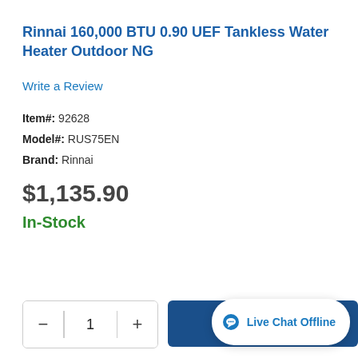Rinnai 160,000 BTU 0.90 UEF Tankless Water Heater Outdoor NG
Write a Review
Item#: 92628
Model#: RUS75EN
Brand: Rinnai
$1,135.90
In-Stock
Add To Cart
Live Chat Offline